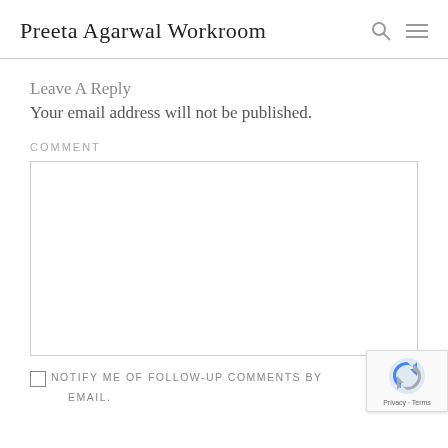Preeta Agarwal Workroom
Leave A Reply
Your email address will not be published.
COMMENT
[Figure (screenshot): Empty comment text area input box with light border]
NOTIFY ME OF FOLLOW-UP COMMENTS BY EMAIL.